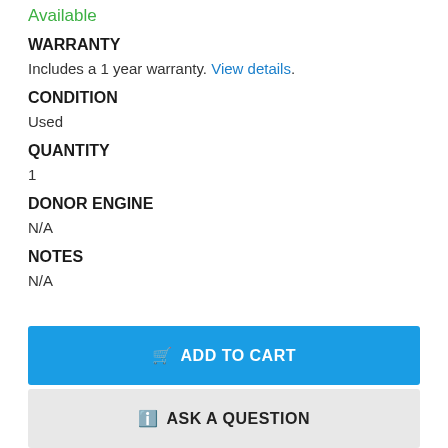Available
WARRANTY
Includes a 1 year warranty. View details.
CONDITION
Used
QUANTITY
1
DONOR ENGINE
N/A
NOTES
N/A
ADD TO CART
ASK A QUESTION